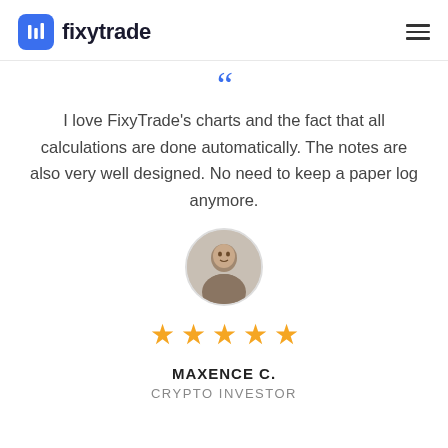fixytrade
I love FixyTrade's charts and the fact that all calculations are done automatically. The notes are also very well designed. No need to keep a paper log anymore.
[Figure (photo): Circular portrait photo of Maxence C., a young man]
★★★★★
MAXENCE C.
CRYPTO INVESTOR